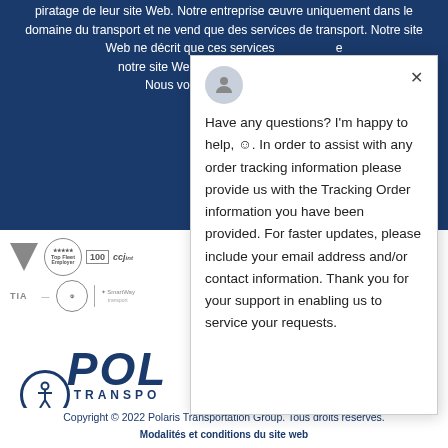piratage de leur site Web. Notre entreprise œuvre uniquement dans le domaine du transport et ne vend que des services de transport. Notre site Web ne décrit que ces services. En naviguant sur notre site Web, nous vous ser... Nous vous remercions...
[Figure (screenshot): Chat popup widget showing: avatar icon, X close button, and message: Have any questions? I'm happy to help, ☺. In order to assist with any order tracking information please provide us with the Tracking Order information you have been provided. For faster updates, please include your email address and/or contact information. Thank you for your support in enabling us to service your requests.]
[Figure (logo): Row of partner/award logos: triangle logo, Top Fleet Employer badge, 100 award, CCJ logo, TIA logo, 5-star badge, separator, SmartWay logo]
[Figure (logo): Polaris Transportation Group logo: POL in large bold italic blue text, TRANSPO in smaller bold blue text below]
Copyright © 2022 Polaris Transportation Group. Tous droits réservés.
Modalités et conditions du site web
Politique de la vie privée du site web
Créé par TryPM.com
[Figure (illustration): Accessibility icon: circle with human figure, blue border]
[Figure (illustration): Chat button: dark blue circle with chat bubble icon]